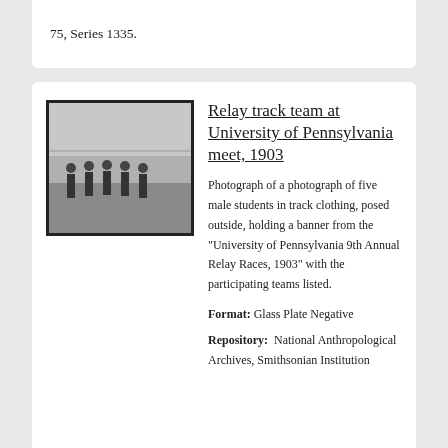75, Series 1335.
[Figure (photo): Black and white photograph of five male students in track clothing standing outside, posed in a row, holding a banner.]
Relay track team at University of Pennsylvania meet, 1903
Photograph of a photograph of five male students in track clothing, posed outside, holding a banner from the "University of Pennsylvania 9th Annual Relay Races, 1903" with the participating teams listed.
Format: Glass Plate Negative
Repository: National Anthropological Archives, Smithsonian Institution